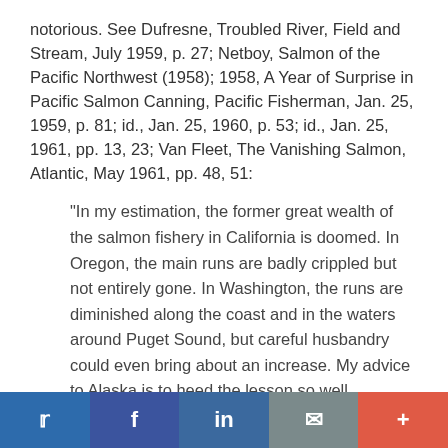notorious. See Dufresne, Troubled River, Field and Stream, July 1959, p. 27; Netboy, Salmon of the Pacific Northwest (1958); 1958, A Year of Surprise in Pacific Salmon Canning, Pacific Fisherman, Jan. 25, 1959, p. 81; id., Jan. 25, 1960, p. 53; id., Jan. 25, 1961, pp. 13, 23; Van Fleet, The Vanishing Salmon, Atlantic, May 1961, pp. 48, 51:
"In my estimation, the former great wealth of the salmon fishery in California is doomed. In Oregon, the main runs are badly crippled but not entirely gone. In Washington, the runs are diminished along the coast and in the waters around Puget Sound, but careful husbandry could even bring about an increase. My advice to Alaska is to heed the lesson so well portrayed in the states to the south of it."
The Hearings on S. 502, supra, are replete with examples of the impact on people and on the Alaska economy of the